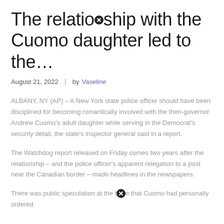The relationship with the Cuomo daughter led to the…
August 21, 2022  |  by Vaseline
ALBANY, NY (AP) – A New York state police officer should have been disciplined for becoming romantically involved with the then-governor Andrew Cuomo's adult daughter while serving in the Democrat's security detail, the state's inspector general said in a report.
The Watchdog report released on Friday comes two years after the relationship – and the police officer's apparent relegation to a post near the Canadian border – made headlines in the newspapers.
There was public speculation at the time that Cuomo had personally ordered